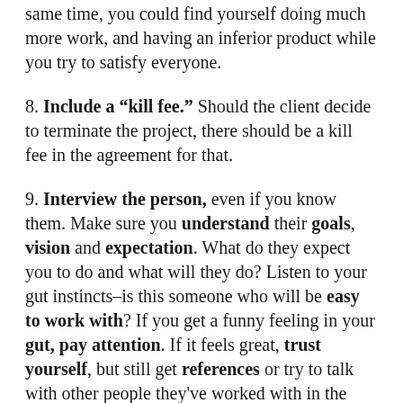same time, you could find yourself doing much more work, and having an inferior product while you try to satisfy everyone.
8. Include a "kill fee." Should the client decide to terminate the project, there should be a kill fee in the agreement for that.
9. Interview the person, even if you know them. Make sure you understand their goals, vision and expectation. What do they expect you to do and what will they do? Listen to your gut instincts–is this someone who will be easy to work with? If you get a funny feeling in your gut, pay attention. If it feels great, trust yourself, but still get references or try to talk with other people they've worked with in the